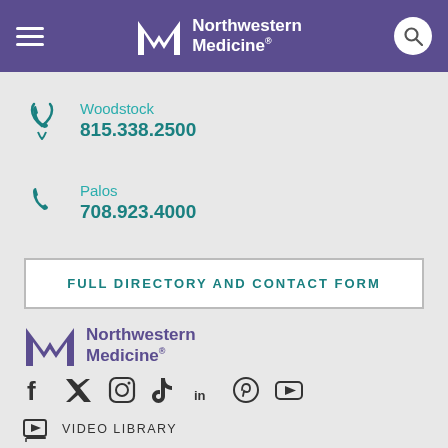Northwestern Medicine
Woodstock
815.338.2500
Palos
708.923.4000
FULL DIRECTORY AND CONTACT FORM
[Figure (logo): Northwestern Medicine logo with NM monogram in purple]
[Figure (infographic): Social media icons: Facebook, Twitter, Instagram, TikTok, LinkedIn, Pinterest, YouTube]
VIDEO LIBRARY